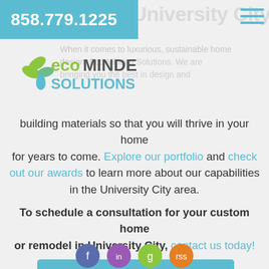858.779.1225
[Figure (logo): Eco Minded Solutions logo with green leaves and blue water drop]
When it comes to luxurious, sustainable home design, Eco Minded Solutions. We are bringing you the best in design and building materials so that you will thrive in your home for years to come. Explore our portfolio and check out our awards to learn more about our capabilities in the University City area.
To schedule a consultation for your custom home or remodel in University City, contact us today!
Request a Consultation »